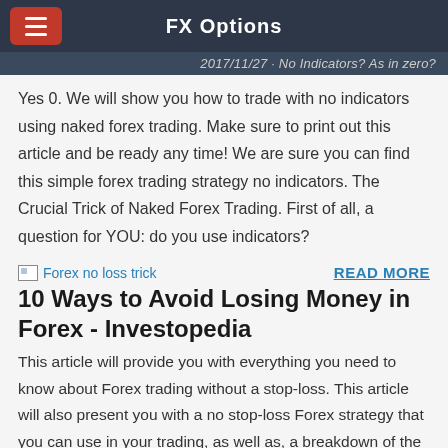FX Options
2017/11/27 · No Indicators? As in zero?
Yes 0. We will show you how to trade with no indicators using naked forex trading. Make sure to print out this article and be ready any time! We are sure you can find this simple forex trading strategy no indicators. The Crucial Trick of Naked Forex Trading. First of all, a question for YOU: do you use indicators?
[Figure (photo): Broken image placeholder labeled 'Forex no loss trick']
READ MORE
10 Ways to Avoid Losing Money in Forex - Investopedia
This article will provide you with everything you need to know about Forex trading without a stop-loss. This article will also present you with a no stop-loss Forex strategy that you can use in your trading, as well as, a breakdown of the advantages and disadvantages of these types of strategies. A